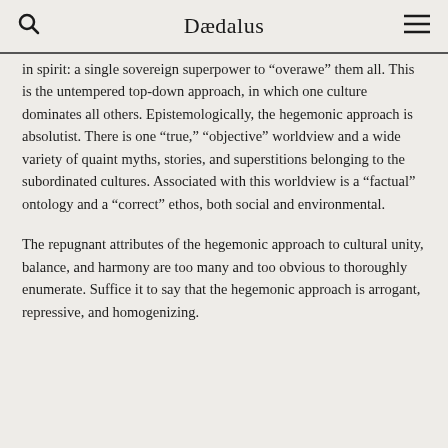Dædalus
in spirit: a single sovereign superpower to “overawe” them all. This is the untempered top-down approach, in which one culture dominates all others. Epistemologically, the hegemonic approach is absolutist. There is one “true,” “objective” worldview and a wide variety of quaint myths, stories, and superstitions belonging to the subordinated cultures. Associated with this worldview is a “factual” ontology and a “correct” ethos, both social and environmental.
The repugnant attributes of the hegemonic approach to cultural unity, balance, and harmony are too many and too obvious to thoroughly enumerate. Suffice it to say that the hegemonic approach is arrogant, repressive, and homogenizing.